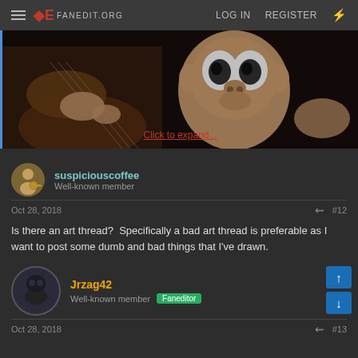FANEDIT.ORG  LOG IN  REGISTER
[Figure (screenshot): Cropped screenshot of an animated scene showing a cartoon monkey/ape character with exaggerated eyes, with hands holding a guitar visible on the left, with a 'Click to expand...' link overlay]
Click to expand...
suspiciouscoffee
Well-known member
Oct 28, 2018  #12
Is there an art thread?  Specifically a bad art thread is preferable as I want to post some dumb and bad things that I've drawn.
Jrzag42
Well-known member  Faneditor
Oct 28, 2018  #13